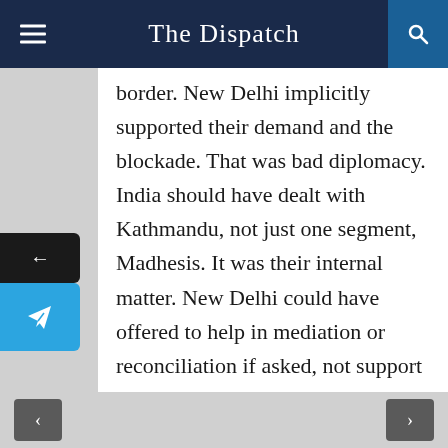The Dispatch
border. New Delhi implicitly supported their demand and the blockade. That was bad diplomacy. India should have dealt with Kathmandu, not just one segment, Madhesis. It was their internal matter. New Delhi could have offered to help in mediation or reconciliation if asked, not support a section of people, even if they were of Indian origin.

Secondly, New Delhi had been non-aligned between two super powers USA
< >